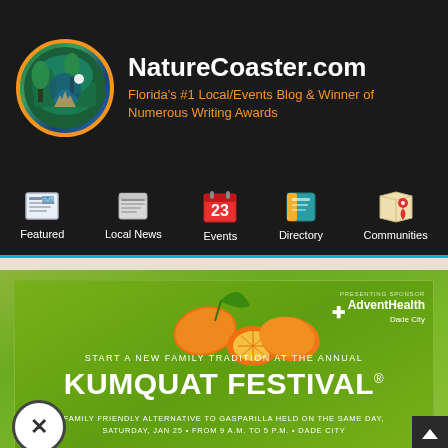NatureCoaster.com — Florida's #1 Local/Events Blog & Winner of Numerous Writing Awards
[Figure (logo): NatureCoaster.com circular logo with nature/hiking scene in teal and green with orange border]
Featured
Local News
Events
Directory
Communities
[Figure (infographic): Kumquat Festival advertisement banner. Text: START A NEW FAMILY TRADITION AT THE ANNUAL KUMQUAT FESTIVAL® FAMILY FRIENDLY ALTERNATIVE TO GASPARILLA HELD ON THE SAME DAY, SATURDAY, JAN 25 • FROM 9 A.M. TO 5 P.M. • DADE CITY. Sponsored by AdventHealth Dade City. Features orange kumquat fruit imagery on green background.]
Stay Connected